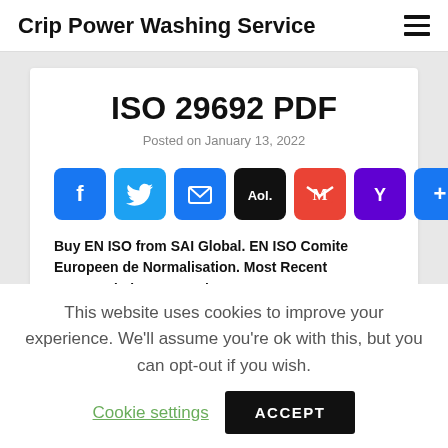Crip Power Washing Service
ISO 29692 PDF
Posted on January 13, 2022
[Figure (other): Social sharing icons row: Facebook, Twitter, Email, AOL, Gmail, Yahoo, More (plus sign)]
Buy EN ISO from SAI Global. EN ISO Comite Europeen de Normalisation. Most Recent Superseded. EN , Metal-arc
This website uses cookies to improve your experience. We'll assume you're ok with this, but you can opt-out if you wish.
Cookie settings  ACCEPT